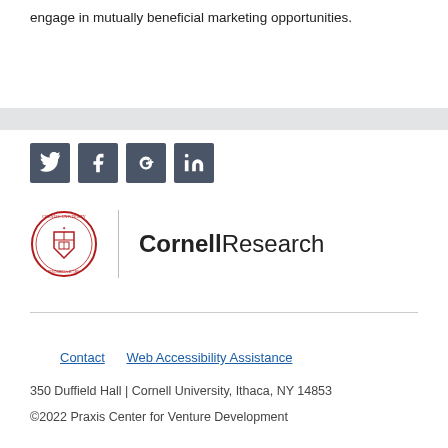engage in mutually beneficial marketing opportunities.
[Figure (infographic): Social media icons: Twitter, Facebook, Google+, LinkedIn — dark gray square buttons with white icons]
[Figure (logo): Cornell University seal logo alongside 'CornellResearch' text with vertical divider]
Praxis Center for Venture Development
Contact | Web Accessibility Assistance
350 Duffield Hall | Cornell University, Ithaca, NY 14853
©2022 Praxis Center for Venture Development